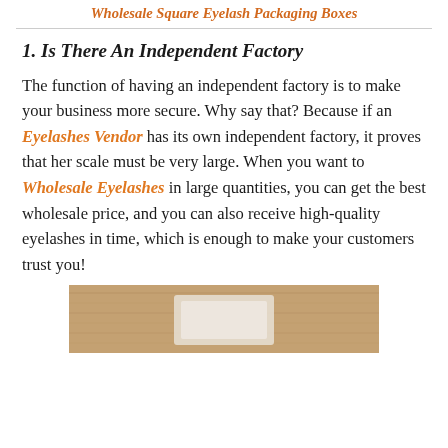Wholesale Square Eyelash Packaging Boxes
1. Is There An Independent Factory
The function of having an independent factory is to make your business more secure. Why say that? Because if an Eyelashes Vendor has its own independent factory, it proves that her scale must be very large. When you want to Wholesale Eyelashes in large quantities, you can get the best wholesale price, and you can also receive high-quality eyelashes in time, which is enough to make your customers trust you!
[Figure (photo): Photo of eyelash packaging boxes on a wooden surface, partially visible at the bottom of the page]